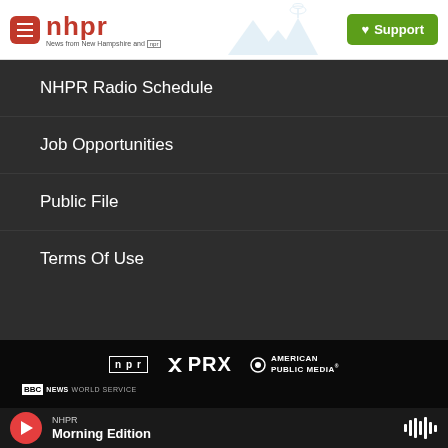[Figure (logo): NHPR website header with logo, tagline 'News from New Hampshire and npr', and green Support button]
NHPR Radio Schedule
Job Opportunities
Public File
Terms Of Use
[Figure (logo): Partner logos: npr, PRX, American Public Media, BBC News World Service]
NHPR Morning Edition (audio player bar)